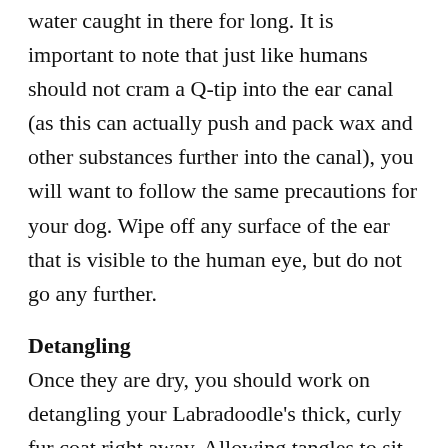water caught in there for long. It is important to note that just like humans should not cram a Q-tip into the ear canal (as this can actually push and pack wax and other substances further into the canal), you will want to follow the same precautions for your dog. Wipe off any surface of the ear that is visible to the human eye, but do not go any further.
Detangling
Once they are dry, you should work on detangling your Labradoodle's thick, curly fur coat right away. Allowing tangles to sit can cause them to become much worse – and the last thing you want is to end up at a groomer